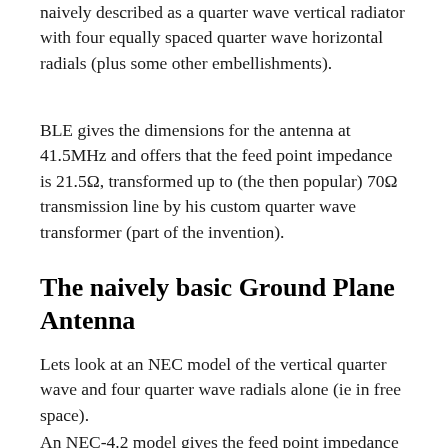naively described as a quarter wave vertical radiator with four equally spaced quarter wave horizontal radials (plus some other embellishments).
BLE gives the dimensions for the antenna at 41.5MHz and offers that the feed point impedance is 21.5Ω, transformed up to (the then popular) 70Ω transmission line by his custom quarter wave transformer (part of the invention).
The naively basic Ground Plane Antenna
Lets look at an NEC model of the vertical quarter wave and four quarter wave radials alone (ie in free space).
An NEC-4.2 model gives the feed point impedance as